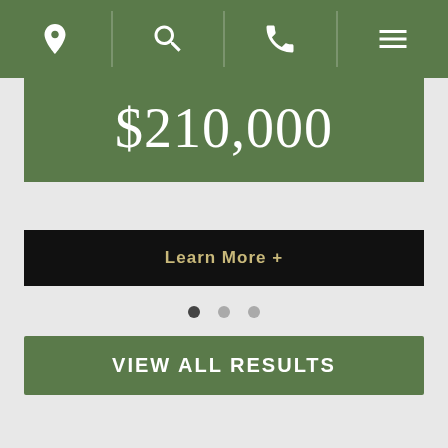[Navigation bar with location, search, phone, and menu icons]
$210,000
Learn More +
VIEW ALL RESULTS
Recognized
[Figure (logo): Wisconsin Association for [partial logo visible at bottom of page with flame/torch icon in orange and text in navy blue]]